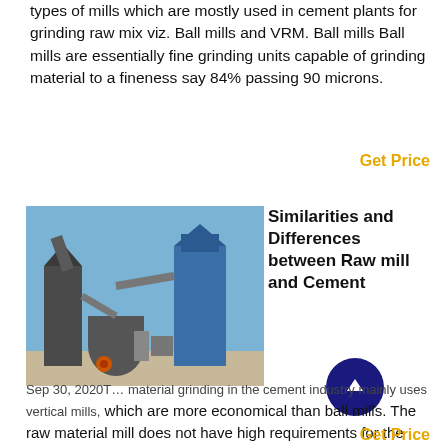types of mills which are mostly used in cement plants for grinding raw mix viz. Ball mills and VRM. Ball mills Ball mills are essentially fine grinding units capable of grinding material to a fineness say 84% passing 90 microns.
Get Price
[Figure (photo): Industrial grinding mill equipment outdoors — vertical roller mill with blue silos and ductwork against a blue sky]
Similarities and Differences between Raw mill and Cement
Sep 30, 2020T… material grinding in the cement industry mainly uses vertical mills, which are more economical than ball mills. The raw material mill does not have high requirements for the fineness of the discharge, and the ball load is relatively small compared to the cement mill, and does not require finer steel ball grading.
Get Price